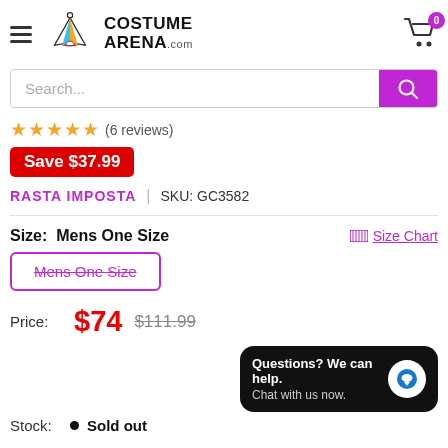COSTUME ARENA.com
Search...
★★★★★ (6 reviews)
Save $37.99
RASTA IMPOSTA  |  SKU: GC3582
Size: Mens One Size
Mens One Size
Price: $74  $111.99
Questions? We can help. Chat with us now.
Stock: • Sold out